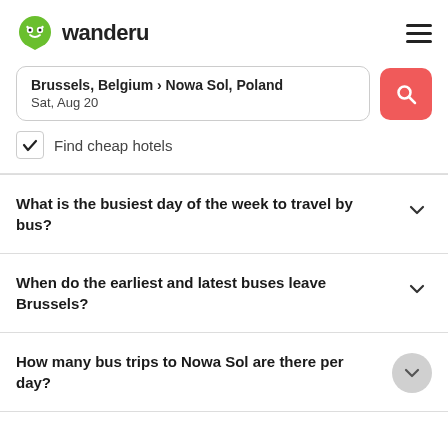wanderu
Brussels, Belgium › Nowa Sol, Poland
Sat, Aug 20
Find cheap hotels
What is the busiest day of the week to travel by bus?
When do the earliest and latest buses leave Brussels?
How many bus trips to Nowa Sol are there per day?